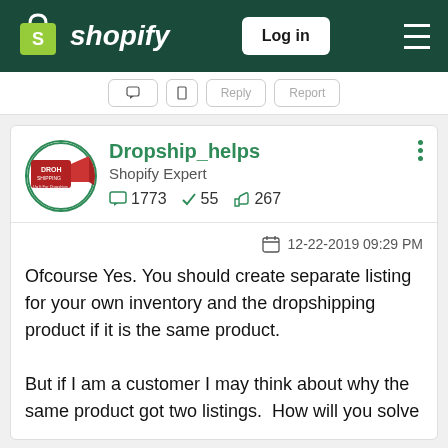shopify — Log in
[Figure (screenshot): Partial toolbar with reply and report buttons]
Dropship_helps
Shopify Expert
1773  55  267
12-22-2019 09:29 PM
Ofcourse Yes. You should create separate listing for your own inventory and the dropshipping product if it is the same product.

But if I am a customer I may think about why the same product got two listings.  How will you solve